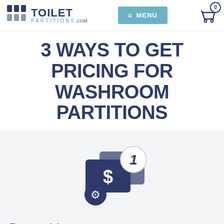[Figure (logo): ToiletPartitions.com logo with bar icon and menu button and cart]
3 WAYS TO GET PRICING FOR WASHROOM PARTITIONS
[Figure (illustration): Numbered icon 1 with dollar sign currency card and gear/settings icon in dark navy blue]
Try our pricing too
We're offline
Leave a message